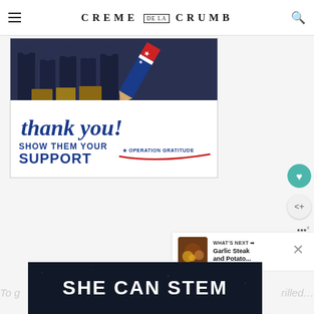CREME DE LA CRUMB
[Figure (photo): Advertisement image showing firefighters with boxes and 'thank you! SHOW THEM YOUR SUPPORT OPERATION GRATITUDE' text with patriotic pencil graphic]
[Figure (photo): Thumbnail image of Garlic Steak and Potato dish]
WHAT'S NEXT → Garlic Steak and Potato...
[Figure (photo): Advertisement banner with dark background reading 'SHE CAN STEM']